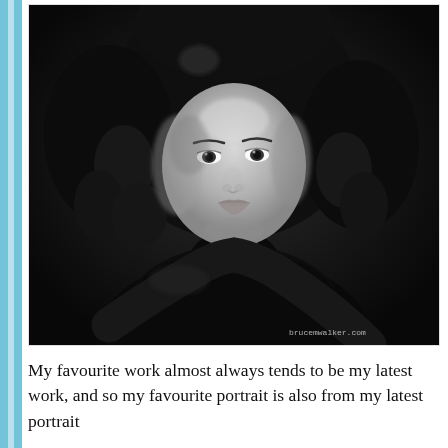[Figure (photo): Black and white studio portrait photograph of a woman with voluminous curly hair, wearing a black turtleneck top, against a dark background. Watermark 'brucemwalker.com' in lower right corner.]
My favourite work almost always tends to be my latest work, and so my favourite portrait is also from my latest portrait